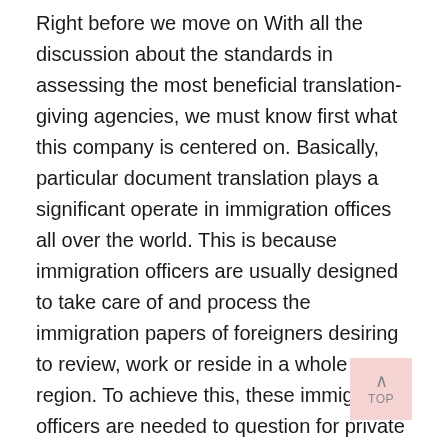Right before we move on With all the discussion about the standards in assessing the most beneficial translation-giving agencies, we must know first what this company is centered on. Basically, particular document translation plays a significant operate in immigration offices all over the world. This is because immigration officers are usually designed to take care of and process the immigration papers of foreigners desiring to review, work or reside in a whole new region. To achieve this, these immigration officers are needed to question for private documents – birth certificates, relationship certificates, higher education diploma, transcript of data and various pertinent documents from immigrants, considering the fact that these particular documents give proof of these immigrants' identities. By employing the experience